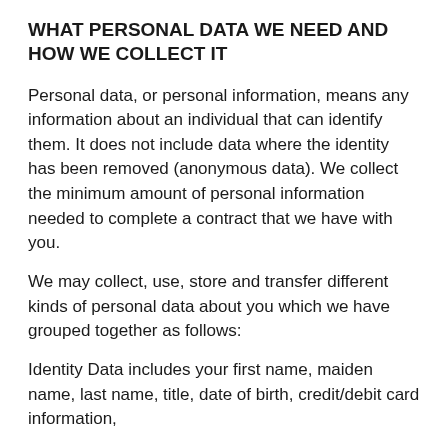WHAT PERSONAL DATA WE NEED AND HOW WE COLLECT IT
Personal data, or personal information, means any information about an individual that can identify them. It does not include data where the identity has been removed (anonymous data). We collect the minimum amount of personal information needed to complete a contract that we have with you.
We may collect, use, store and transfer different kinds of personal data about you which we have grouped together as follows:
Identity Data includes your first name, maiden name, last name, title, date of birth, credit/debit card information,
Contact Data includes your postal address, email address and telephone numbers.
Where we need to collect personal information about you by law, or to fulfil our obligations to you and you fail to